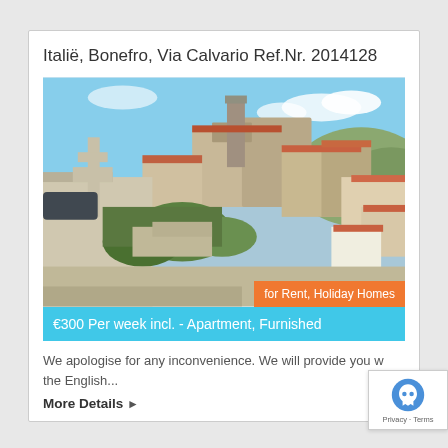Italië, Bonefro, Via Calvario Ref.Nr. 2014128
[Figure (photo): Aerial/elevated view of a hillside Italian village (Bonefro) showing historic stone buildings, terracotta rooftops, a church tower, and lush green vegetation with a blue sky in the background.]
for Rent, Holiday Homes
€300 Per week incl. - Apartment, Furnished
We apologise for any inconvenience. We will provide you w the English...
More Details ▶